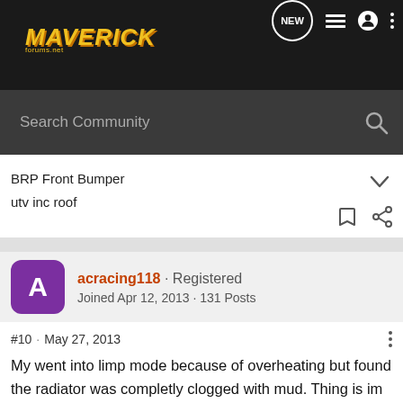MAVERICK forums.net — NEW, list, user, more icons
Search Community
BRP Front Bumper
utv inc roof
acracing118 · Registered
Joined Apr 12, 2013 · 131 Posts
#10 · May 27, 2013
My went into limp mode because of overheating but found the radiator was completly clogged with mud. Thing is im not a mudder. Just normal trail riding. i have never clogged a radiator on our other 3 rzrs in 2000 miles, And there was 5 other rzrs with me takeing the same lines and they didnt clogg theres. Just dont understand why it would be the only by coincidence to